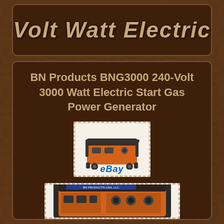Volt Watt Electric
BN Products BNG3000 240-Volt 3000 Watt Electric Start Gas Power Generator
[Figure (photo): Small thumbnail image of an orange gas power generator with eBay watermark]
[Figure (photo): Larger image of an orange BN Products gas power generator]